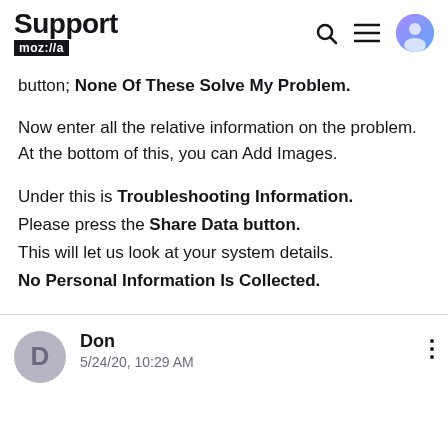Support mozilla://a
button; None Of These Solve My Problem.
Now enter all the relative information on the problem. At the bottom of this, you can Add Images.
Under this is Troubleshooting Information.
Please press the Share Data button.
This will let us look at your system details.
No Personal Information Is Collected.
Don
5/24/20, 10:29 AM